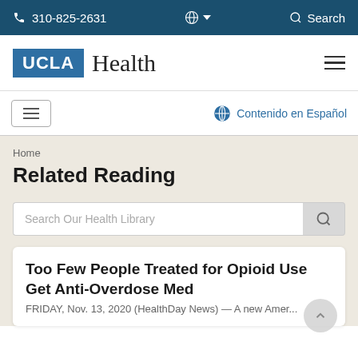310-825-2631   🌐 ▾   🔍 Search
[Figure (logo): UCLA Health logo with blue UCLA box and serif Health text]
Contenido en Español
Home
Related Reading
Search Our Health Library
Too Few People Treated for Opioid Use Get Anti-Overdose Med
FRIDAY, Nov. 13, 2020 (HealthDay News) — A new...